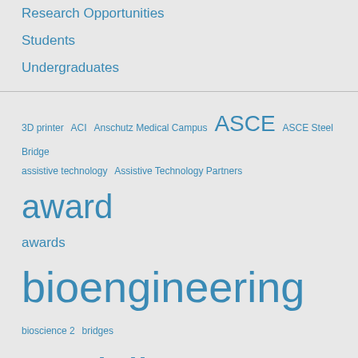Research Opportunities
Students
Undergraduates
[Figure (infographic): Tag cloud of engineering-related topics including bioengineering, civil engineering, computer science and engineering, ASCE, construction, etc. in varying font sizes indicating frequency/importance.]